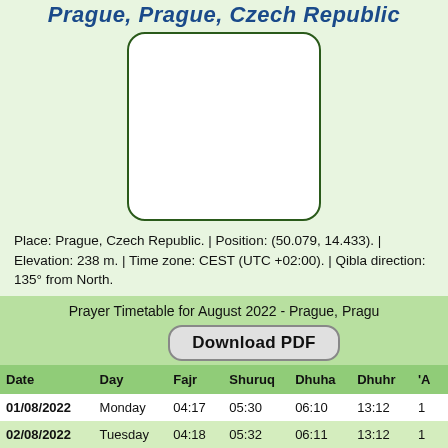Prague, Prague, Czech Republic
[Figure (map): Map placeholder box showing Prague location, white rounded-corner rectangle with green border]
Place: Prague, Czech Republic. | Position: (50.079, 14.433). | Elevation: 238 m. | Time zone: CEST (UTC +02:00). | Qibla direction: 135° from North.
Prayer Timetable for August 2022 - Prague, Pragu
Download PDF
| Date | Day | Fajr | Shuruq | Dhuha | Dhuhr | 'A |
| --- | --- | --- | --- | --- | --- | --- |
| 01/08/2022 | Monday | 04:17 | 05:30 | 06:10 | 13:12 | 1 |
| 02/08/2022 | Tuesday | 04:18 | 05:32 | 06:11 | 13:12 | 1 |